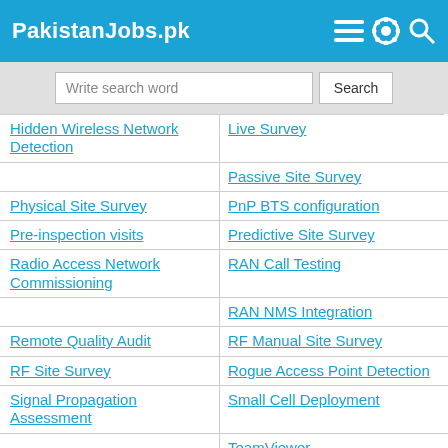PakistanJobs.pk
Write search word | Search
Hidden Wireless Network Detection
Live Survey
Passive Site Survey
Physical Site Survey
PnP BTS configuration
Pre-inspection visits
Predictive Site Survey
Radio Access Network Commissioning
RAN Call Testing
RAN NMS Integration
Remote Quality Audit
RF Manual Site Survey
RF Site Survey
Rogue Access Point Detection
Signal Propagation Assessment
Small Cell Deployment
TeamViewer
Technical Site Audit
Technical Site Survey
Walking Path Analysis
Wireless Access Point Installation
Wireless Capacity Analysis
Wireless Coverage Assessment
Wireless Network Risk...
Wireless Network Security...